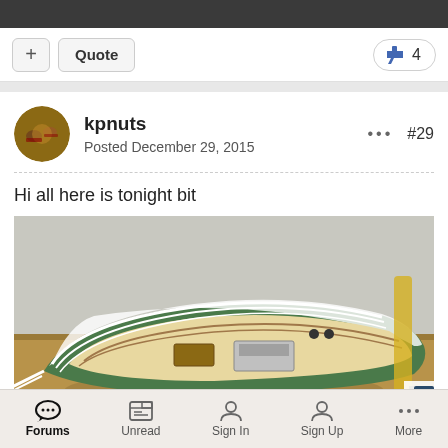[Figure (screenshot): Top dark bar at the top of the screen]
+ Quote
👍 4
kpnuts
Posted December 29, 2015
••• #29
Hi all here is tonight bit
[Figure (photo): Photo of a model sailboat hull under construction on a wooden workbench. The boat has a green hull with white trim lines and internal wooden framework visible.]
Forums  Unread  Sign In  Sign Up  More